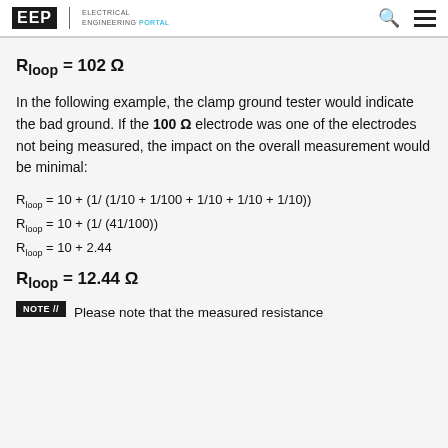EEP | ELECTRICAL ENGINEERING PORTAL
In the following example, the clamp ground tester would indicate the bad ground. If the 100 Ω electrode was one of the electrodes not being measured, the impact on the overall measurement would be minimal:
Please note that the measured resistance